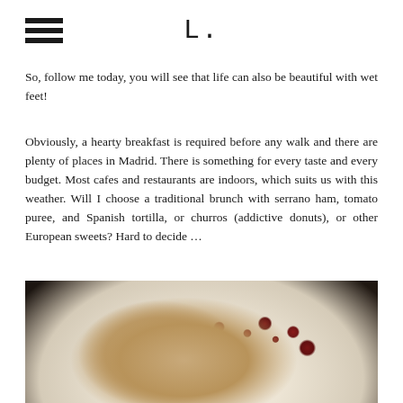L.
So, follow me today, you will see that life can also be beautiful with wet feet!
Obviously, a hearty breakfast is required before any walk and there are plenty of places in Madrid. There is something for every taste and every budget. Most cafes and restaurants are indoors, which suits us with this weather. Will I choose a traditional brunch with serrano ham, tomato puree, and Spanish tortilla, or churros (addictive donuts), or other European sweets? Hard to decide …
[Figure (photo): A white plate with pastry/food topped with dark berry sauce drizzled around it, on a dark wooden table surface]